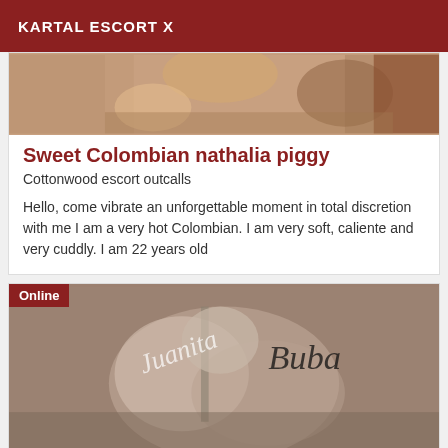KARTAL ESCORT X
[Figure (photo): Partially visible photo of a person at the top of the first card]
Sweet Colombian nathalia piggy
Cottonwood escort outcalls
Hello, come vibrate an unforgettable moment in total discretion with me I am a very hot Colombian. I am very soft, caliente and very cuddly. I am 22 years old
[Figure (photo): Black and white photo of a person from behind with cursive watermark text overlaid, with an Online badge]